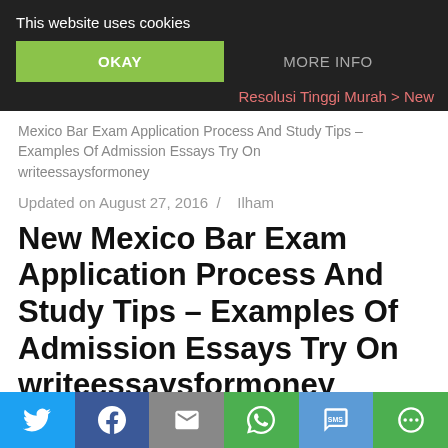This website uses cookies
OKAY
MORE INFO
Resolusi Tinggi Murah > New Mexico Bar Exam Application Process And Study Tips – Examples Of Admission Essays Try On writeessaysformoney
Updated on August 27, 2016  /   Ilham
New Mexico Bar Exam Application Process And Study Tips – Examples Of Admission Essays Try On writeessaysformoney
[Figure (infographic): Social share bar with Twitter, Facebook, Email, WhatsApp, SMS, and share icons on colored backgrounds]